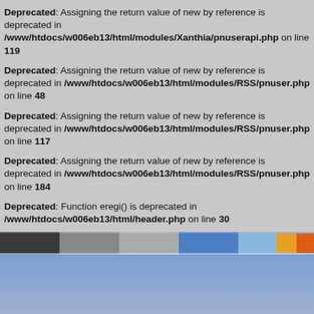Deprecated: Assigning the return value of new by reference is deprecated in /www/htdocs/w006eb13/html/modules/Xanthia/pnuserapi.php on line 119
Deprecated: Assigning the return value of new by reference is deprecated in /www/htdocs/w006eb13/html/modules/RSS/pnuser.php on line 48
Deprecated: Assigning the return value of new by reference is deprecated in /www/htdocs/w006eb13/html/modules/RSS/pnuser.php on line 117
Deprecated: Assigning the return value of new by reference is deprecated in /www/htdocs/w006eb13/html/modules/RSS/pnuser.php on line 184
Deprecated: Function eregi() is deprecated in /www/htdocs/w006eb13/html/header.php on line 30
[Figure (screenshot): A screenshot of a website showing a colorful horizontal banner with dark grey, light grey, blue, light blue, orange and orange-red color blocks at the top, and a large blue gradient background below.]
Deprecated: preg_replace(): The /e modifier is deprecated, use preg_replace_callback instead in /www/htdocs/w006eb13/html/includes/pnAPI.php on line 5
Deprecated: preg_replace(): The /e modifier is deprecated,